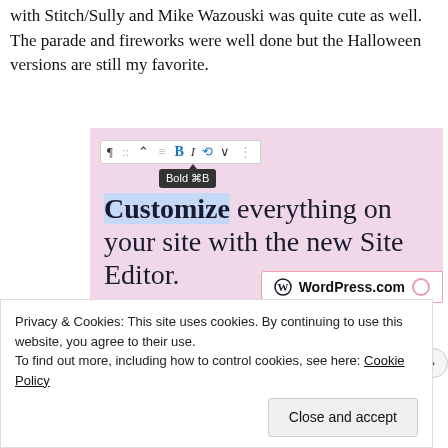with Stitch/Sully and Mike Wazouski was quite cute as well. The parade and fireworks were well done but the Halloween versions are still my favorite.
[Figure (screenshot): Screenshot of a WordPress.com site editor interface showing a toolbar with Bold button tooltip, headline text 'Customize everything on your site with the new Site Editor.', a 'Start Today' button, and the WordPress.com logo bar at the bottom.]
Privacy & Cookies: This site uses cookies. By continuing to use this website, you agree to their use. To find out more, including how to control cookies, see here: Cookie Policy
Close and accept